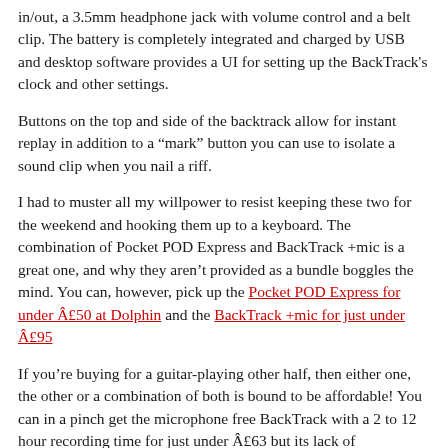in/out, a 3.5mm headphone jack with volume control and a belt clip. The battery is completely integrated and charged by USB and desktop software provides a UI for setting up the BackTrack's clock and other settings.
Buttons on the top and side of the backtrack allow for instant replay in addition to a “mark” button you can use to isolate a sound clip when you nail a riff.
I had to muster all my willpower to resist keeping these two for the weekend and hooking them up to a keyboard. The combination of Pocket POD Express and BackTrack +mic is a great one, and why they aren’t provided as a bundle boggles the mind. You can, however, pick up the Pocket POD Express for under Â£50 at Dolphin and the BackTrack +mic for just under Â£95
If you’re buying for a guitar-playing other half, then either one, the other or a combination of both is bound to be affordable! You can in a pinch get the microphone free BackTrack with a 2 to 12 hour recording time for just under Â£63 but its lack of Microphone isn’t terribly acoustic-guitar or vocalist friendly.